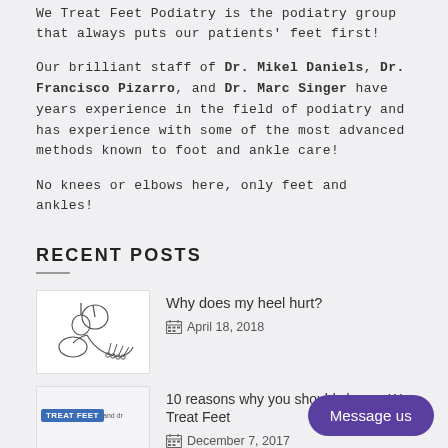We Treat Feet Podiatry is the podiatry group that always puts our patients' feet first!
Our brilliant staff of Dr. Mikel Daniels, Dr. Francisco Pizarro, and Dr. Marc Singer have years experience in the field of podiatry and has experience with some of the most advanced methods known to foot and ankle care!
No knees or elbows here, only feet and ankles!
RECENT POSTS
[Figure (illustration): Line drawing of foot/ankle anatomy skeleton diagram]
Why does my heel hurt?
April 18, 2018
[Figure (screenshot): We Treat Feet website screenshot thumbnail with blue logo]
10 reasons why you should choose We Treat Feet
December 7, 2017
Why does my diabetic foot hurt?